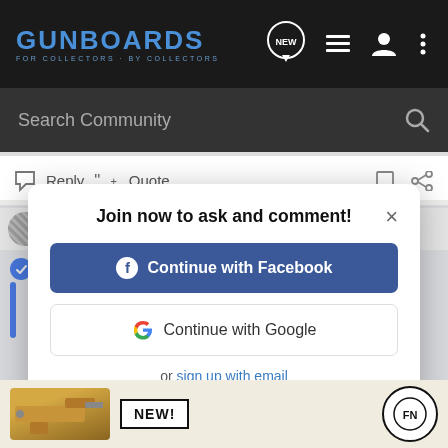GUNBOARDS - FOR COLLECTORS · BY COLLECTORS
Search Community
Reply  Quote
Join now to ask and comment!
Continue with Facebook
Continue with Google
or sign up with email
be re-be... e stock will sma... en a rifle...